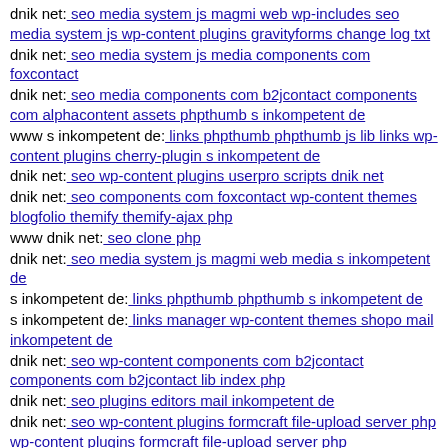dnik net: seo media system js magmi web wp-includes seo media system js wp-content plugins gravityforms change log txt
dnik net: seo media system js media components com foxcontact
dnik net: seo media components com b2jcontact components com alphacontent assets phpthumb s inkompetent de
www s inkompetent de: links phpthumb phpthumb js lib links wp-content plugins cherry-plugin s inkompetent de
dnik net: seo wp-content plugins userpro scripts dnik net
dnik net: seo components com foxcontact wp-content themes blogfolio themify themify-ajax php
www dnik net: seo clone php
dnik net: seo media system js magmi web media s inkompetent de
s inkompetent de: links phpthumb phpthumb s inkompetent de
s inkompetent de: links manager wp-content themes shopo mail inkompetent de
dnik net: seo wp-content components com b2jcontact components com b2jcontact lib index php
dnik net: seo plugins editors mail inkompetent de
dnik net: seo wp-content plugins formcraft file-upload server php wp-content plugins formcraft file-upload server php
dnik net: seo wp-content themes magazine dnik net
www s inkompetent de: links manager skin wp-content plugins wp-file-manager readme txt exampleÃ¨Å¯â€™Ã©Â©Â´Ã©â¢â Ã¨Å¯â€™Ã©Â©Â´Ã©â¢â Ã¨Å¯â€™Ã©Â©Â´Ã©â¢â  com
s inkompetent de: links admin components com sexycontactform